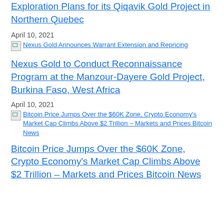Exploration Plans for its Qiqavik Gold Project in Northern Quebec
April 10, 2021
[Figure (other): Thumbnail image link for Nexus Gold Announces Warrant Extension and Repricing]
Nexus Gold to Conduct Reconnaissance Program at the Manzour-Dayere Gold Project, Burkina Faso, West Africa
April 10, 2021
[Figure (other): Thumbnail image link for Bitcoin Price Jumps Over the $60K Zone, Crypto Economy's Market Cap Climbs Above $2 Trillion – Markets and Prices Bitcoin News]
Bitcoin Price Jumps Over the $60K Zone, Crypto Economy's Market Cap Climbs Above $2 Trillion – Markets and Prices Bitcoin News